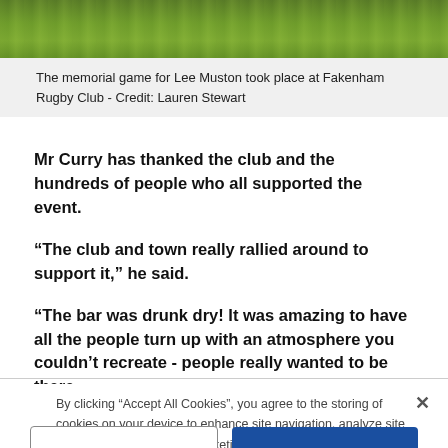[Figure (photo): Grass/turf of a rugby pitch viewed from above, showing green grass texture]
The memorial game for Lee Muston took place at Fakenham Rugby Club - Credit: Lauren Stewart
Mr Curry has thanked the club and the hundreds of people who all supported the event.
“The club and town really rallied around to support it,” he said.
“The bar was drunk dry! It was amazing to have all the people turn up with an atmosphere you couldn’t recreate - people really wanted to be there.
By clicking “Accept All Cookies”, you agree to the storing of cookies on your device to enhance site navigation, analyze site usage, and assist in our marketing efforts.